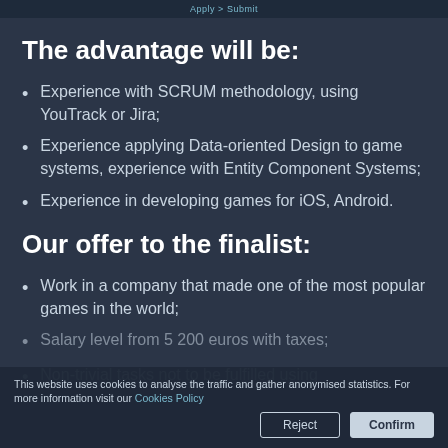The advantage will be:
Experience with SCRUM methodology, using YouTrack or Jira;
Experience applying Data-oriented Design to game systems, experience with Entity Component Systems;
Experience in developing games for iOS, Android.
Our offer to the finalist:
Work in a company that made one of the most popular games in the world;
Salary level from 5 200 euros with taxes;
Non-trivial tasks not to be fulfilled using
This website uses cookies to analyse the traffic and gather anonymised statistics. For more information visit our Cookies Policy